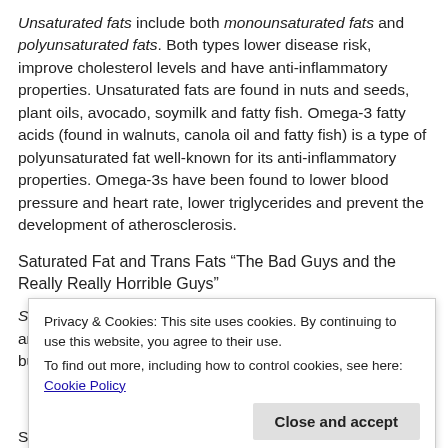Unsaturated fats include both monounsaturated fats and polyunsaturated fats. Both types lower disease risk, improve cholesterol levels and have anti-inflammatory properties. Unsaturated fats are found in nuts and seeds, plant oils, avocado, soymilk and fatty fish. Omega-3 fatty acids (found in walnuts, canola oil and fatty fish) is a type of polyunsaturated fat well-known for its anti-inflammatory properties. Omega-3s have been found to lower blood pressure and heart rate, lower triglycerides and prevent the development of atherosclerosis.
Saturated Fat and Trans Fats “The Bad Guys and the Really Really Horrible Guys”
Saturated fats are found in animal products such as meat and poultry skin, as well as high fat dairy products and butter. These
Privacy & Cookies: This site uses cookies. By continuing to use this website, you agree to their use.
To find out more, including how to control cookies, see here: Cookie Policy
Saturated fats and trans fats tend to be solid at room